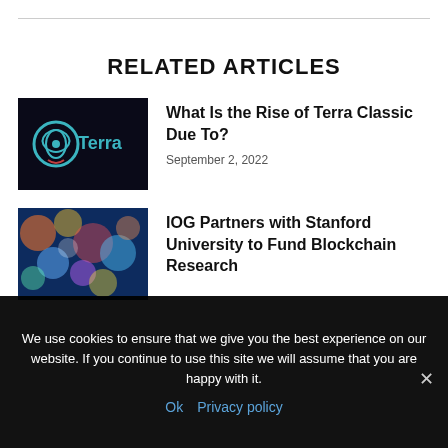RELATED ARTICLES
[Figure (photo): Terra logo on dark background — green/teal circular icon with 'Terra' text]
What Is the Rise of Terra Classic Due To?
September 2, 2022
[Figure (photo): Colorful bokeh spheres on blue background]
IOG Partners with Stanford University to Fund Blockchain Research
We use cookies to ensure that we give you the best experience on our website. If you continue to use this site we will assume that you are happy with it.
Ok  Privacy policy